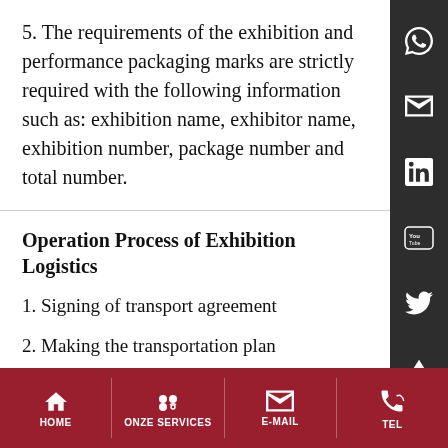5. The requirements of the exhibition and performance packaging marks are strictly required with the following information such as: exhibition name, exhibitor name, exhibition number, package number and total number.
Operation Process of Exhibition Logistics
1. Signing of transport agreement
2. Making the transportation plan
3. Sorting and packaging
4. ATA Documentation
5. Setting up a project team
6. Implementation of the transport plan
HOME   ONZE SERVICES   E-MAIL   TEL